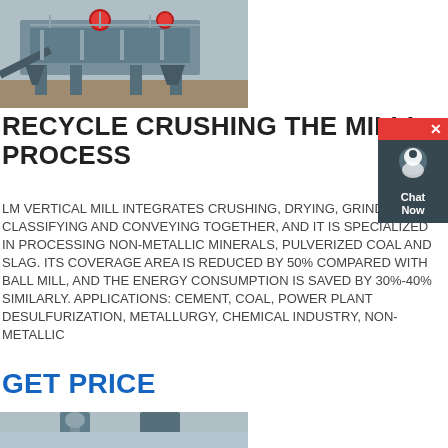[Figure (photo): Industrial crushing/milling equipment outdoors, gray metal machinery on site]
RECYCLE CRUSHING THE MILLI PROCESS
LM VERTICAL MILL INTEGRATES CRUSHING, DRYING, GRINDING, CLASSIFYING AND CONVEYING TOGETHER, AND IT IS SPECIALIZED IN PROCESSING NON-METALLIC MINERALS, PULVERIZED COAL AND SLAG. ITS COVERAGE AREA IS REDUCED BY 50% COMPARED WITH BALL MILL, AND THE ENERGY CONSUMPTION IS SAVED BY 30%-40% SIMILARLY. APPLICATIONS: CEMENT, COAL, POWER PLANT DESULFURIZATION, METALLURGY, CHEMICAL INDUSTRY, NON-METALLIC
GET PRICE
[Figure (photo): Industrial equipment, partial view of machinery with sky background]